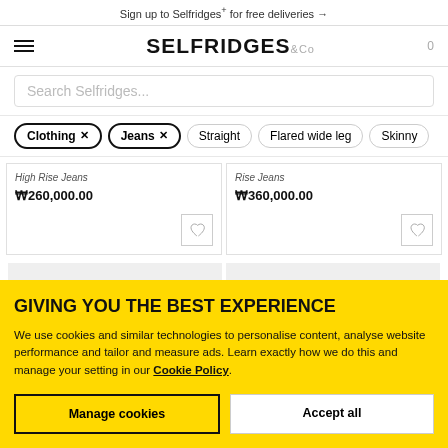Sign up to Selfridges+ for free deliveries →
[Figure (logo): Selfridges & Co logo with hamburger menu and cart count 0]
Search Selfridges...
Clothing × | Jeans × | Straight | Flared wide leg | Skinny
High Rise Jeans
₩260,000.00
Rise Jeans
₩360,000.00
GIVING YOU THE BEST EXPERIENCE
We use cookies and similar technologies to personalise content, analyse website performance and tailor and measure ads. Learn exactly how we do this and manage your setting in our Cookie Policy.
Manage cookies
Accept all